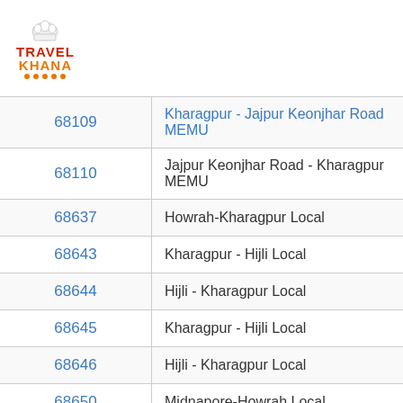Travel Khana logo
| Train Number | Train Name |
| --- | --- |
| 68109 | Kharagpur - Jajpur Keonjhar Road MEMU |
| 68110 | Jajpur Keonjhar Road - Kharagpur MEMU |
| 68637 | Howrah-Kharagpur Local |
| 68643 | Kharagpur - Hijli Local |
| 68644 | Hijli - Kharagpur Local |
| 68645 | Kharagpur - Hijli Local |
| 68646 | Hijli - Kharagpur Local |
| 68650 | Midnapore-Howrah Local |
| 80805 | Santragachi - Barauni Suvidha Special |
| 80806 | Barauni - Santragachi Chhath Puja Suvidha |